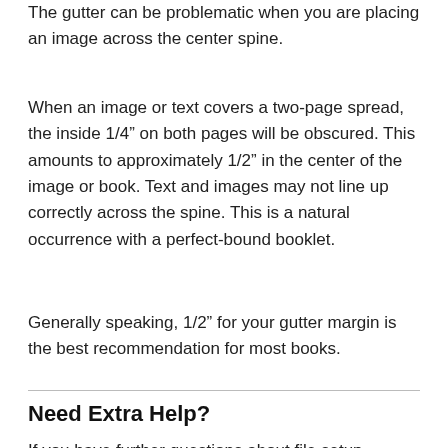The gutter can be problematic when you are placing an image across the center spine.
When an image or text covers a two-page spread, the inside 1/4” on both pages will be obscured. This amounts to approximately 1/2” in the center of the image or book. Text and images may not line up correctly across the spine. This is a natural occurrence with a perfect-bound booklet.
Generally speaking, 1/2” for your gutter margin is the best recommendation for most books.
Need Extra Help?
If you have further questions about file setup, please contact us by email or by scheduling a